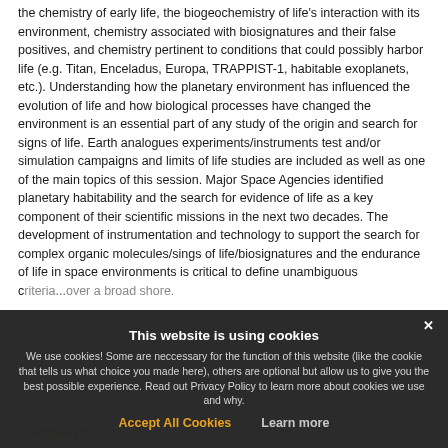the chemistry of early life, the biogeochemistry of life's interaction with its environment, chemistry associated with biosignatures and their false positives, and chemistry pertinent to conditions that could possibly harbor life (e.g. Titan, Enceladus, Europa, TRAPPIST-1, habitable exoplanets, etc.). Understanding how the planetary environment has influenced the evolution of life and how biological processes have changed the environment is an essential part of any study of the origin and search for signs of life. Earth analogues experiments/instruments test and/or simulation campaigns and limits of life studies are included as well as one of the main topics of this session. Major Space Agencies identified planetary habitability and the search for evidence of life as a key component of their scientific missions in the next two decades. The development of instrumentation and technology to support the search for complex organic molecules/sings of life/biosignatures and the endurance of life in space environments is critical to define unambiguous criteria... over a broad shore.
Co-organize...
This website is using cookies
We use cookies! Some are neccessary for the function of this website (like the cookie that tells us what choice you made here), others are optional but allow us to give you the best possible experience. Read out Privacy Policy to learn more about cookies we use and why.
Accept All Cookies   Learn more